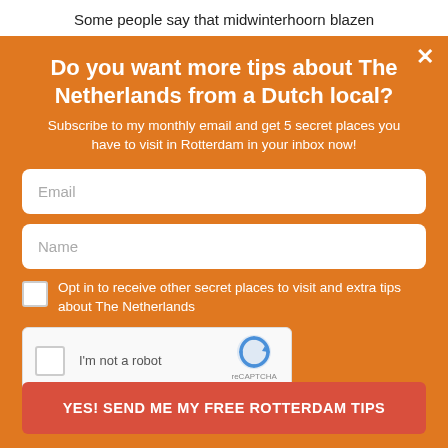Some people say that midwinterhoorn blazen
Do you want more tips about The Netherlands from a Dutch local?
Subscribe to my monthly email and get 5 secret places you have to visit in Rotterdam in your inbox now!
Email
Name
Opt in to receive other secret places to visit and extra tips about The Netherlands
[Figure (other): reCAPTCHA widget with checkbox, 'I'm not a robot' text, and Google reCAPTCHA logo with Privacy and Terms links]
YES! SEND ME MY FREE ROTTERDAM TIPS